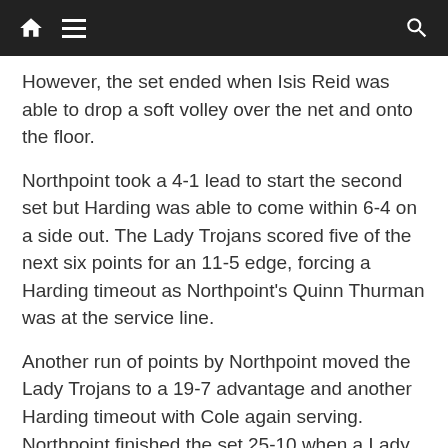[navigation bar with home, menu, and search icons]
However, the set ended when Isis Reid was able to drop a soft volley over the net and onto the floor.
Northpoint took a 4-1 lead to start the second set but Harding was able to come within 6-4 on a side out. The Lady Trojans scored five of the next six points for an 11-5 edge, forcing a Harding timeout as Northpoint's Quinn Thurman was at the service line.
Another run of points by Northpoint moved the Lady Trojans to a 19-7 advantage and another Harding timeout with Cole again serving. Northpoint finished the set 25-10 when a Lady Lion serve went wide of the court.
Teams traded points early in the third set, but